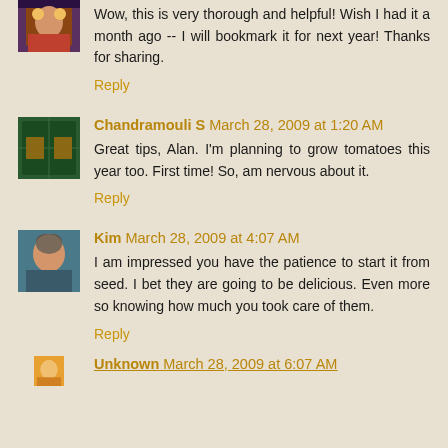Wow, this is very thorough and helpful! Wish I had it a month ago -- I will bookmark it for next year! Thanks for sharing.
Reply
Chandramouli S March 28, 2009 at 1:20 AM
Great tips, Alan. I'm planning to grow tomatoes this year too. First time! So, am nervous about it.
Reply
Kim March 28, 2009 at 4:07 AM
I am impressed you have the patience to start it from seed. I bet they are going to be delicious. Even more so knowing how much you took care of them.
Reply
Unknown March 28, 2009 at 6:07 AM